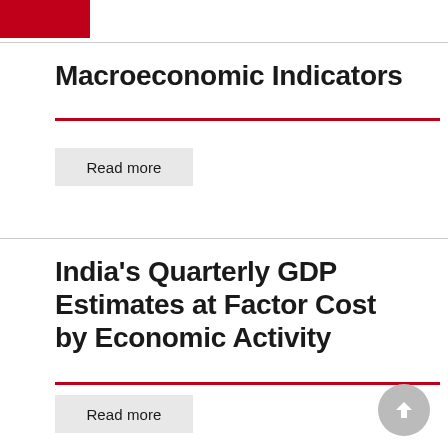Macroeconomic Indicators
Read more
India's Quarterly GDP Estimates at Factor Cost by Economic Activity
Read more